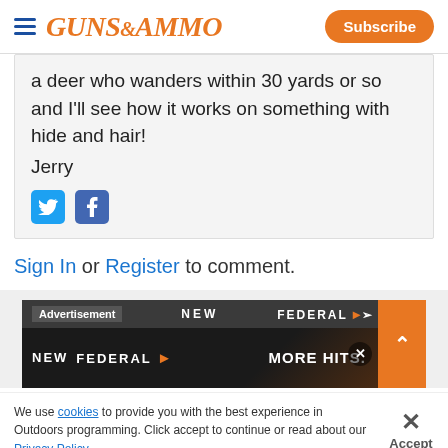GUNS&AMMO | Subscribe
a deer who wanders within 30 yards or so and I'll see how it works on something with hide and hair!
Jerry
[Figure (other): Twitter and Facebook social share icons]
Sign In or Register to comment.
[Figure (other): Federal Ammunition advertisement banner with text NEW FEDERAL MORE HITS.]
We use cookies to provide you with the best experience in Outdoors programming. Click accept to continue or read about our Privacy Policy.